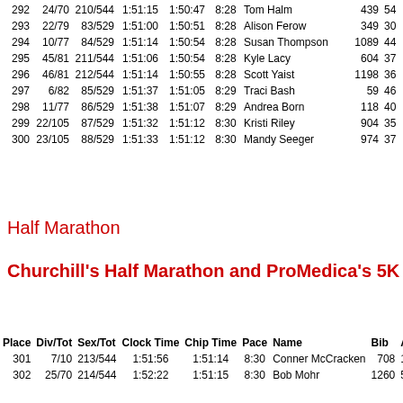| Place | Div/Tot | Sex/Tot | Clock Time | Chip Time | Pace | Name | Bib | Ag |
| --- | --- | --- | --- | --- | --- | --- | --- | --- |
| 292 | 24/70 | 210/544 | 1:51:15 | 1:50:47 | 8:28 | Tom Halm | 439 | 54 |
| 293 | 22/79 | 83/529 | 1:51:00 | 1:50:51 | 8:28 | Alison Ferow | 349 | 30 |
| 294 | 10/77 | 84/529 | 1:51:14 | 1:50:54 | 8:28 | Susan Thompson | 1089 | 44 |
| 295 | 45/81 | 211/544 | 1:51:06 | 1:50:54 | 8:28 | Kyle Lacy | 604 | 37 |
| 296 | 46/81 | 212/544 | 1:51:14 | 1:50:55 | 8:28 | Scott Yaist | 1198 | 36 |
| 297 | 6/82 | 85/529 | 1:51:37 | 1:51:05 | 8:29 | Traci Bash | 59 | 46 |
| 298 | 11/77 | 86/529 | 1:51:38 | 1:51:07 | 8:29 | Andrea Born | 118 | 40 |
| 299 | 22/105 | 87/529 | 1:51:32 | 1:51:12 | 8:30 | Kristi Riley | 904 | 35 |
| 300 | 23/105 | 88/529 | 1:51:33 | 1:51:12 | 8:30 | Mandy Seeger | 974 | 37 |
Half Marathon
Churchill's Half Marathon and ProMedica's 5K
| Place | Div/Tot | Sex/Tot | Clock Time | Chip Time | Pace | Name | Bib | Ag |
| --- | --- | --- | --- | --- | --- | --- | --- | --- |
| 301 | 7/10 | 213/544 | 1:51:56 | 1:51:14 | 8:30 | Conner McCracken | 708 | 1 |
| 302 | 25/70 | 214/544 | 1:52:22 | 1:51:15 | 8:30 | Bob Mohr | 1260 | 5 |